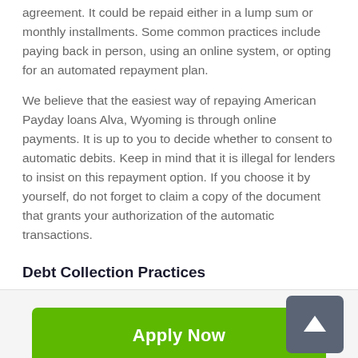agreement. It could be repaid either in a lump sum or monthly installments. Some common practices include paying back in person, using an online system, or opting for an automated repayment plan.
We believe that the easiest way of repaying American Payday loans Alva, Wyoming is through online payments. It is up to you to decide whether to consent to automatic debits. Keep in mind that it is illegal for lenders to insist on this repayment option. If you choose it by yourself, do not forget to claim a copy of the document that grants your authorization of the automatic transactions.
Debt Collection Practices
[Figure (other): Green Apply Now button with text 'Apply Now']
Applying does NOT affect your credit score!
No credit check to apply.